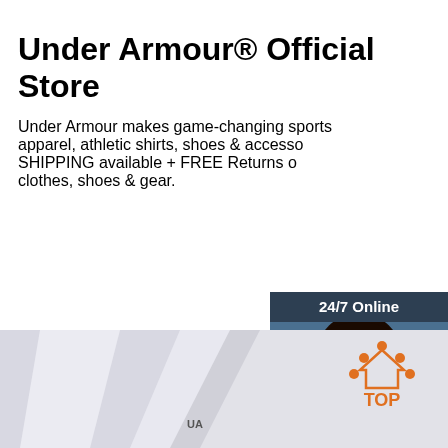Under Armour® Official Store
Under Armour makes game-changing sports apparel, athletic shirts, shoes & accessories. FREE SHIPPING available + FREE Returns on Under Armour clothes, shoes & gear.
[Figure (other): Orange 'Get Price' button]
[Figure (other): 24/7 Online chat widget with woman wearing headset, 'Click here for free chat!' text, and orange QUOTATION button]
[Figure (other): Gray background section with fabric/paper image, orange TOP badge with house icon, and Under Armour logo at bottom]
[Figure (logo): Under Armour logo mark at bottom center]